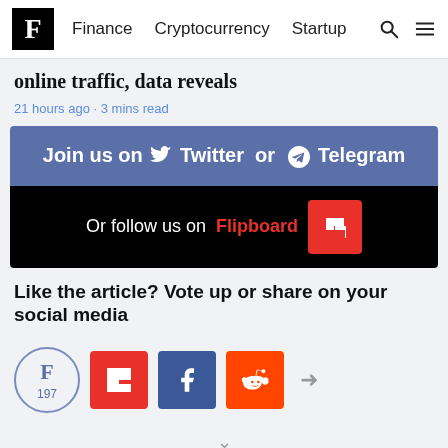F Finance Cryptocurrency Startup
online traffic, data reveals
21 hours ago · 3 mins read
[Figure (infographic): Social media follow banner with two sections: blue bar 'Join us on Twitter or Telegram' and black bar 'Or follow us on Flipboard' with red Flipboard icon]
Like the article? Vote up or share on your social media
[Figure (infographic): Social sharing buttons: circular F vote button showing 197, red Flipboard square, blue Facebook square, orange Reddit square, share arrow icon]